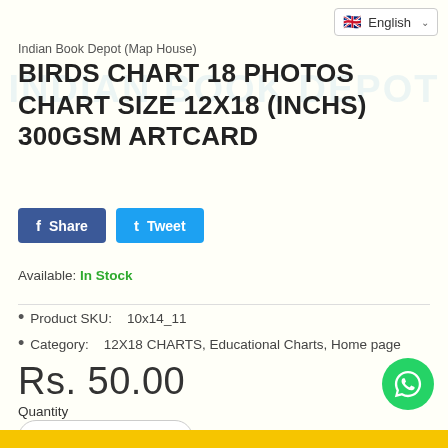Indian Book Depot (Map House)
BIRDS CHART 18 PHOTOS CHART SIZE 12X18 (INCHS) 300GSM ARTCARD
Available: In Stock
Product SKU:   10x14_11
Category:   12X18 CHARTS, Educational Charts, Home page
Rs. 50.00
Quantity
1